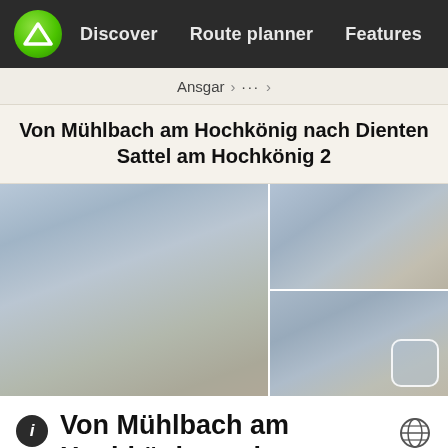Discover   Route planner   Features
Ansgar > ... >
Von Mühlbach am Hochkönig nach Dienten Sattel am Hochkönig 2
[Figure (photo): Three-panel photo grid showing misty mountain scenery with muted blue-grey and beige tones. Left panel is large, right side has two stacked smaller panels. Bottom-right panel has an expand/fullscreen icon.]
Von Mühlbach am Hochkönig nach